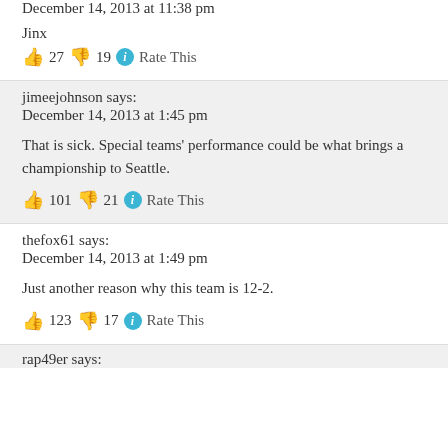December 14, 2013 at 11:38 pm
Jinx
👍 27 👎 19 ℹ Rate This
jimeejohnson says:
December 14, 2013 at 1:45 pm
That is sick. Special teams' performance could be what brings a championship to Seattle.
👍 101 👎 21 ℹ Rate This
thefox61 says:
December 14, 2013 at 1:49 pm
Just another reason why this team is 12-2.
👍 123 👎 17 ℹ Rate This
rap49er says: